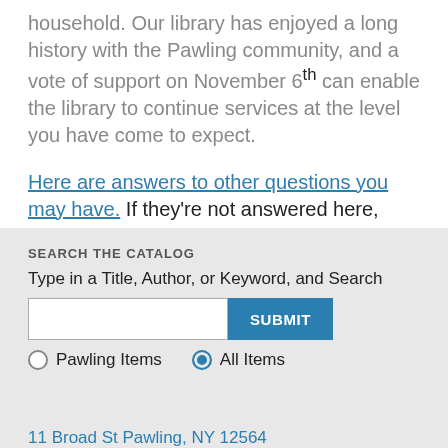household. Our library has enjoyed a long history with the Pawling community, and a vote of support on November 6th can enable the library to continue services at the level you have come to expect.
Here are answers to other questions you may have. If they're not answered here, please feel free to contact the library and we will get an answer for you!
SEARCH THE CATALOG
Type in a Title, Author, or Keyword, and Search
Pawling Items   All Items
11 Broad St Pawling, NY 12564